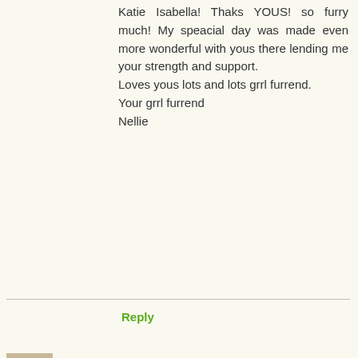Katie Isabella! Thaks YOUS! so furry much! My speacial day was made even more wonderful with yous there lending me your strength and support.
Loves yous lots and lots grrl furrend.
Your grrl furrend
Nellie
Reply
Jans Funny Farm 16 May 2016 at 07:31
Congratulations, Nellie! We are so very happy for you and Merlin. You two still have a lot of spunk and an adventurous spirit. Be happy!
Reply
▾ Replies
Marv, Jo Jo, Komo, Cinnamon & Angel Nellie